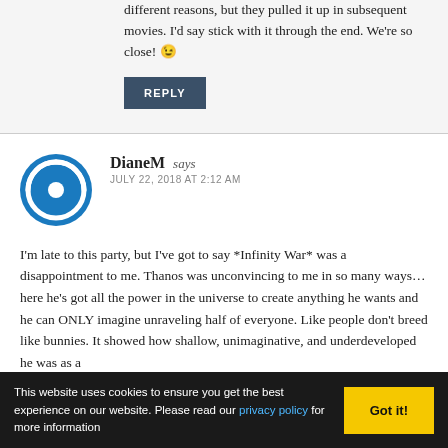different reasons, but they pulled it up in subsequent movies. I'd say stick with it through the end. We're so close! 😉
REPLY
DianeM says
JULY 22, 2018 AT 2:12 AM
I'm late to this party, but I've got to say *Infinity War* was a disappointment to me. Thanos was unconvincing to me in so many ways…here he's got all the power in the universe to create anything he wants and he can ONLY imagine unraveling half of everyone. Like people don't breed like bunnies. It showed how shallow, unimaginative, and underdeveloped he was as a
This website uses cookies to ensure you get the best experience on our website. Please read our privacy policy for more information